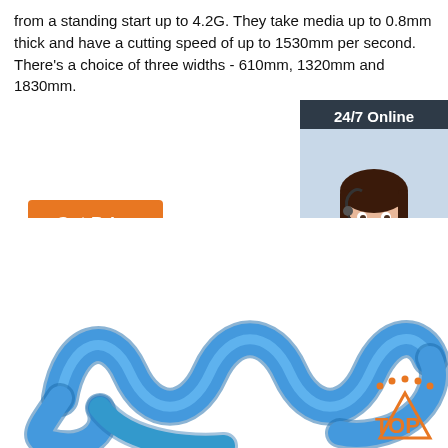from a standing start up to 4.2G. They take media up to 0.8mm thick and have a cutting speed of up to 1530mm per second. There's a choice of three widths - 610mm, 1320mm and 1830mm.
[Figure (illustration): Orange 'Get Price' button on the left]
[Figure (illustration): 24/7 Online chat widget with customer service representative photo, 'Click here for free chat!' text, and orange QUOTATION button]
[Figure (photo): Blue coiled/spiral tube or spring-like product against white background, with a TOP logo in the lower right corner]